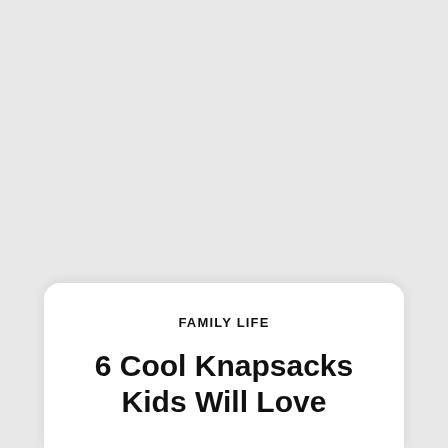FAMILY LIFE
6 Cool Knapsacks Kids Will Love